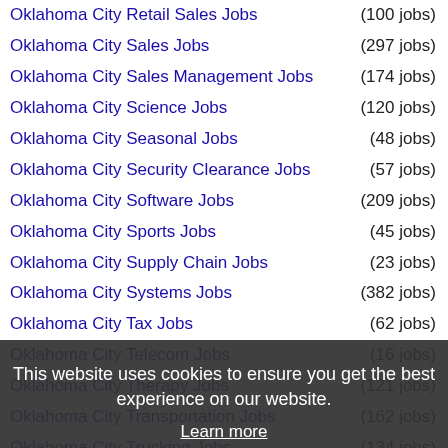Oklahoma City Retail Sales Jobs (100 jobs)
Oklahoma City Sales Jobs (297 jobs)
Oklahoma City Sales Management Jobs (174 jobs)
Oklahoma City Science Jobs (120 jobs)
Oklahoma City Seasonal Jobs (48 jobs)
Oklahoma City Security Clearance Jobs (57 jobs)
Oklahoma City Software Jobs (209 jobs)
Oklahoma City Sports Jobs (45 jobs)
Oklahoma City Supply Chain Jobs (23 jobs)
Oklahoma City Systems Jobs (382 jobs)
Oklahoma City Tax Jobs (62 jobs)
Oklahoma City Telecom Jobs (16 jobs)
Oklahoma City Therapy Jobs (121 jobs)
Oklahoma City Transportation Jobs (162 jobs)
Oklahoma City Trucking Jobs (134 jobs)
Oklahoma City Underwriting Jobs (8 jobs)
Oklahoma City Warehouse Jobs (54 jobs)
Oklahoma City Wellness Jobs (80 jobs)
Oklahoma City Wireless Jobs (9 jobs)
This website uses cookies to ensure you get the best experience on our website. Learn more Got it!